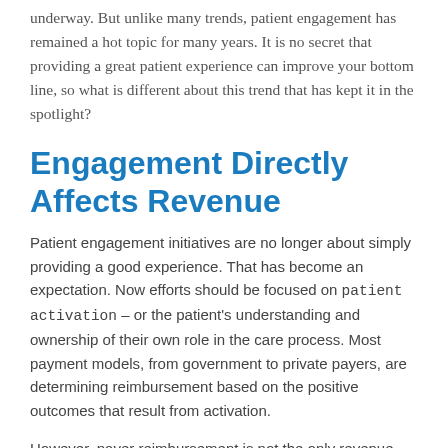underway. But unlike many trends, patient engagement has remained a hot topic for many years. It is no secret that providing a great patient experience can improve your bottom line, so what is different about this trend that has kept it in the spotlight?
Engagement Directly Affects Revenue
Patient engagement initiatives are no longer about simply providing a good experience. That has become an expectation. Now efforts should be focused on patient activation – or the patient's understanding and ownership of their own role in the care process. Most payment models, from government to private payers, are determining reimbursement based on the positive outcomes that result from activation.
However, payer reimbursement is not the only revenue stream influenced by patient engagement. Obviously, the patient